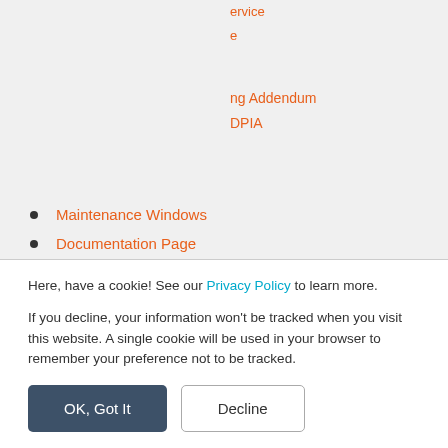[Figure (logo): KnowBe4 orange logo block with white text 'KnowBe4' and tagline 'Human error. Conquered.']
Maintenance Windows
Documentation Page
Capabilities Statement
Code of Ethical Business Conduct
KnowBe4 Global Privacy Compliance
Here, have a cookie! See our Privacy Policy to learn more.
If you decline, your information won't be tracked when you visit this website. A single cookie will be used in your browser to remember your preference not to be tracked.